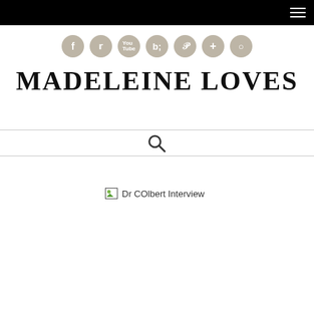MADELEINE LOVES
[Figure (other): Social media icons row: Facebook, Twitter, YouTube, Instagram, Pinterest, Google+, Pinterest/other - circular tan/beige colored buttons with white icons]
MADELEINE LOVES
[Figure (other): Search magnifying glass icon]
[Figure (photo): Broken image placeholder with alt text: Dr COlbert Interview]